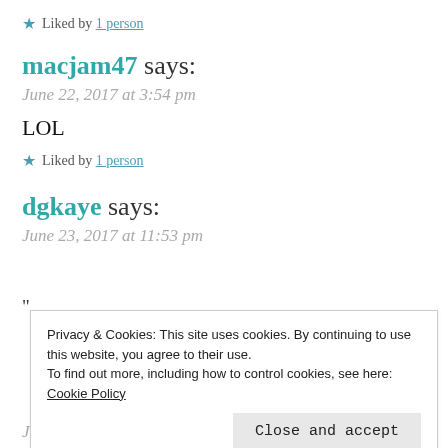★ Liked by 1 person
macjam47 says:
June 22, 2017 at 3:54 pm
LOL
★ Liked by 1 person
dgkaye says:
June 23, 2017 at 11:53 pm
Privacy & Cookies: This site uses cookies. By continuing to use this website, you agree to their use. To find out more, including how to control cookies, see here: Cookie Policy
Close and accept
June 20, 2017 at 6:57 pm